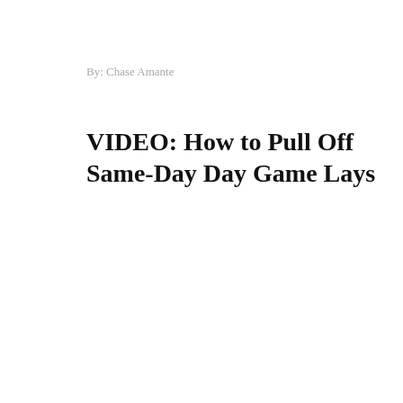By: Chase Amante
VIDEO: How to Pull Off Same-Day Day Game Lays